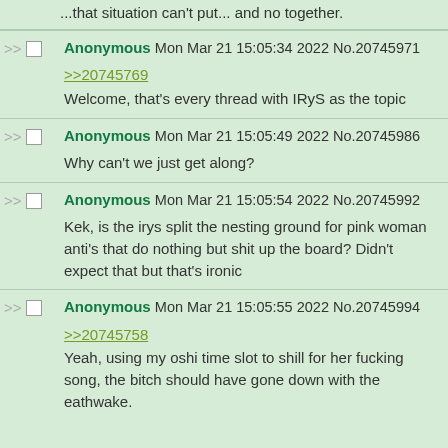...that situation can't put... and no together.
Anonymous Mon Mar 21 15:05:34 2022 No.20745971
>>20745769
Welcome, that's every thread with IRyS as the topic
Anonymous Mon Mar 21 15:05:49 2022 No.20745986
Why can't we just get along?
Anonymous Mon Mar 21 15:05:54 2022 No.20745992
Kek, is the irys split the nesting ground for pink woman anti's that do nothing but shit up the board? Didn't expect that but that's ironic
Anonymous Mon Mar 21 15:05:55 2022 No.20745994
>>20745758
Yeah, using my oshi time slot to shill for her fucking song, the bitch should have gone down with the eathwake.